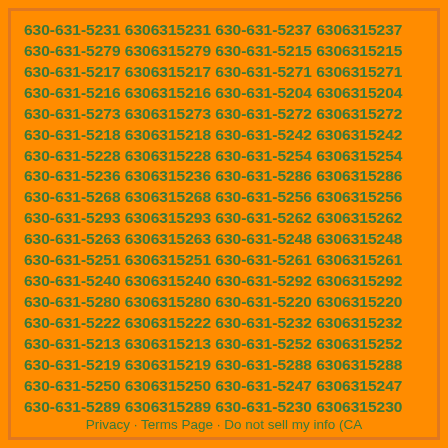630-631-5231 6306315231 630-631-5237 6306315237 630-631-5279 6306315279 630-631-5215 6306315215 630-631-5217 6306315217 630-631-5271 6306315271 630-631-5216 6306315216 630-631-5204 6306315204 630-631-5273 6306315273 630-631-5272 6306315272 630-631-5218 6306315218 630-631-5242 6306315242 630-631-5228 6306315228 630-631-5254 6306315254 630-631-5236 6306315236 630-631-5286 6306315286 630-631-5268 6306315268 630-631-5256 6306315256 630-631-5293 6306315293 630-631-5262 6306315262 630-631-5263 6306315263 630-631-5248 6306315248 630-631-5251 6306315251 630-631-5261 6306315261 630-631-5240 6306315240 630-631-5292 6306315292 630-631-5280 6306315280 630-631-5220 6306315220 630-631-5222 6306315222 630-631-5232 6306315232 630-631-5213 6306315213 630-631-5252 6306315252 630-631-5219 6306315219 630-631-5288 6306315288 630-631-5250 6306315250 630-631-5247 6306315247 630-631-5289 6306315289 630-631-5230 6306315230
Privacy · Terms Page · Do not sell my info (CA